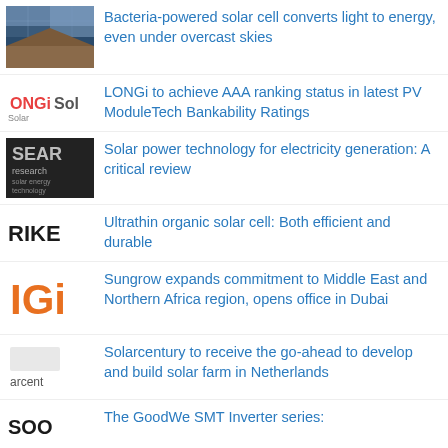Bacteria-powered solar cell converts light to energy, even under overcast skies
LONGi to achieve AAA ranking status in latest PV ModuleTech Bankability Ratings
Solar power technology for electricity generation: A critical review
Ultrathin organic solar cell: Both efficient and durable
Sungrow expands commitment to Middle East and Northern Africa region, opens office in Dubai
Solarcentury to receive the go-ahead to develop and build solar farm in Netherlands
The GoodWe SMT Inverter series: